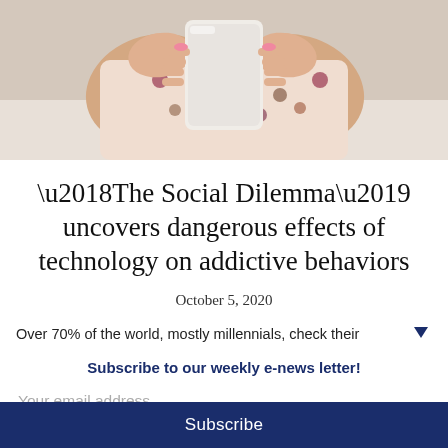[Figure (photo): Close-up photo of hands holding a smartphone, person wearing a floral-patterned top, seated indoors]
‘The Social Dilemma’ uncovers dangerous effects of technology on addictive behaviors
October 5, 2020
Over 70% of the world, mostly millennials, check their ▼
Subscribe to our weekly e-news letter!
Your email address..
Subscribe